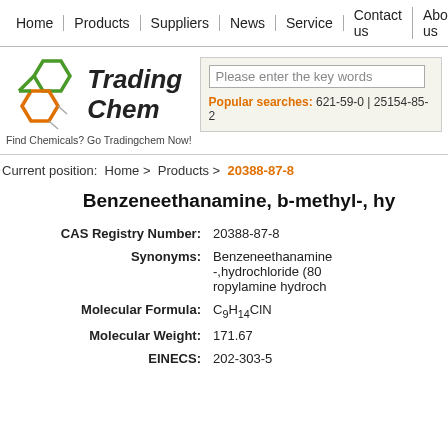Home | Products | Suppliers | News | Service | Contact us | About us
[Figure (logo): TradingChem logo with green and orange hexagon molecular structure graphic, text 'Trading Chem' in bold italic, tagline 'Find Chemicals? Go Tradingchem Now!']
Please enter the key words
Popular searches: 621-59-0 | 25154-85-2
Current position: Home > Products > 20388-87-8
Benzeneethanamine, b-methyl-, hy
| Field | Value |
| --- | --- |
| CAS Registry Number: | 20388-87-8 |
| Synonyms: | Benzeneethanamine-,hydrochloride (80-ropylamine hydroch |
| Molecular Formula: | C9H14ClN |
| Molecular Weight: | 171.67 |
| EINECS: | 202-303-5 |